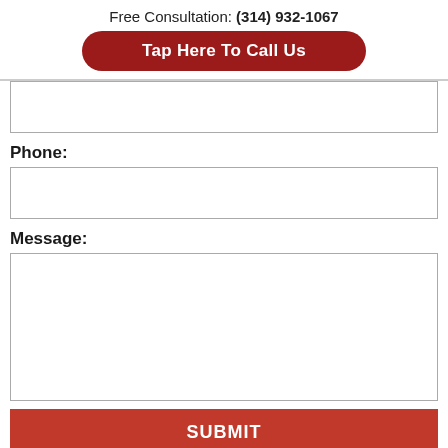Free Consultation: (314) 932-1067
Tap Here To Call Us
Phone:
Message:
SUBMIT